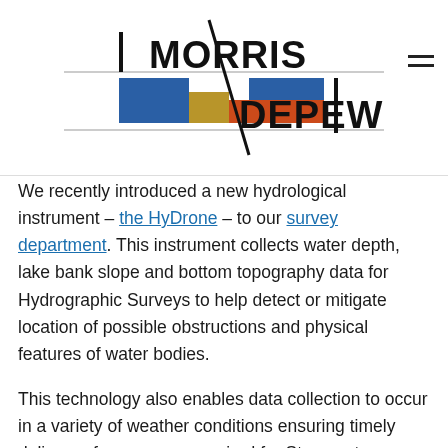[Figure (logo): Morris Depew logo with colored blocks (blue, gold, orange, red) and diagonal line, company name in bold text]
We recently introduced a new hydrological instrument – the HyDrone – to our survey department. This instrument collects water depth, lake bank slope and bottom topography data for Hydrographic Surveys to help detect or mitigate location of possible obstructions and physical features of water bodies.
This technology also enables data collection to occur in a variety of weather conditions ensuring timely delivery of surveys as required for Stormwater Management Systems, Deep Lake Management Plans and Mining Annual Monitoring Reports – all services provided by our team of experts.